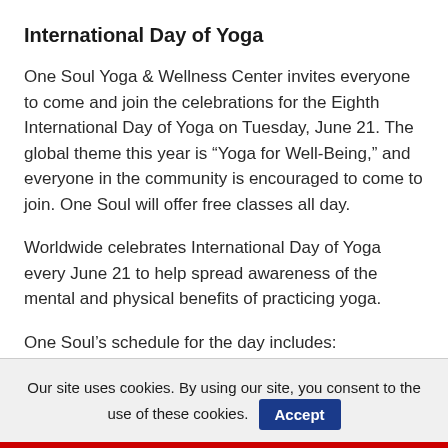International Day of Yoga
One Soul Yoga & Wellness Center invites everyone to come and join the celebrations for the Eighth International Day of Yoga on Tuesday, June 21. The global theme this year is “Yoga for Well-Being,” and everyone in the community is encouraged to come to join. One Soul will offer free classes all day.
Worldwide celebrates International Day of Yoga every June 21 to help spread awareness of the mental and physical benefits of practicing yoga.
One Soul’s schedule for the day includes:
6:30-7:30 am Solstice Kundalini Yoga-DeAnna
Our site uses cookies. By using our site, you consent to the use of these cookies. Accept